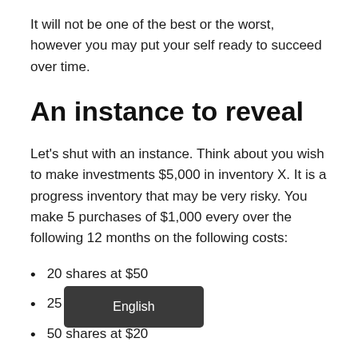It will not be one of the best or the worst, however you may put your self ready to succeed over time.
An instance to reveal
Let's shut with an instance. Think about you wish to make investments $5,000 in inventory X. It is a progress inventory that may be very risky. You make 5 purchases of $1,000 every over the following 12 months on the following costs:
20 shares at $50
25 shares at $40
50 shares at $20
100 shares at $10
40 shares at $25